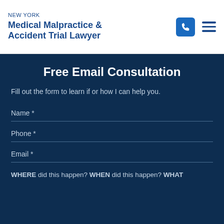NEW YORK Medical Malpractice & Accident Trial Lawyer
Free Email Consultation
Fill out the form to learn if or how I can help you.
Name *
Phone *
Email *
WHERE did this happen? WHEN did this happen? WHAT